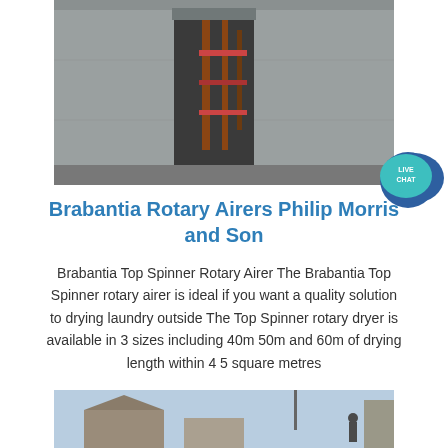[Figure (photo): Photo of a concrete structure with an opening/doorway showing metal scaffolding or pipes inside, with rubble and debris around it.]
Brabantia Rotary Airers Philip Morris and Son
Brabantia Top Spinner Rotary Airer The Brabantia Top Spinner rotary airer is ideal if you want a quality solution to drying laundry outside The Top Spinner rotary dryer is available in 3 sizes including 40m 50m and 60m of drying length within 4 5 square metres
[Figure (photo): Photo of a rooftop scene with a light blue sky, showing what appears to be a concrete or metal structure and a person visible in the lower right area.]